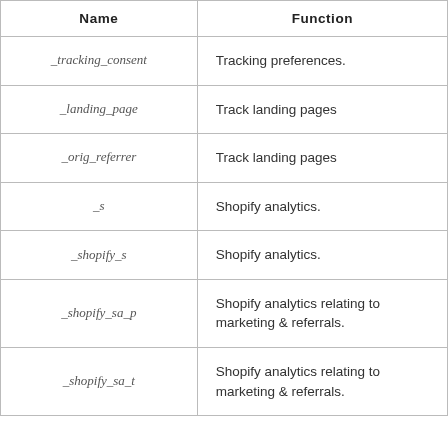| Name | Function |
| --- | --- |
| _tracking_consent | Tracking preferences. |
| _landing_page | Track landing pages |
| _orig_referrer | Track landing pages |
| _s | Shopify analytics. |
| _shopify_s | Shopify analytics. |
| _shopify_sa_p | Shopify analytics relating to marketing & referrals. |
| _shopify_sa_t | Shopify analytics relating to marketing & referrals. |